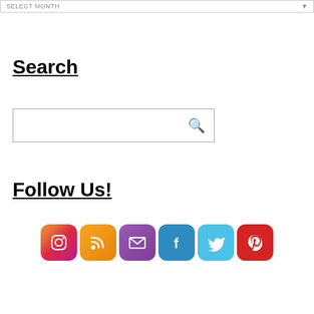SELECT MONTH
Search
[Figure (other): Search input box with magnifying glass icon]
Follow Us!
[Figure (infographic): Row of 6 social media icons: Instagram, RSS, Email, Facebook, Twitter, Pinterest]